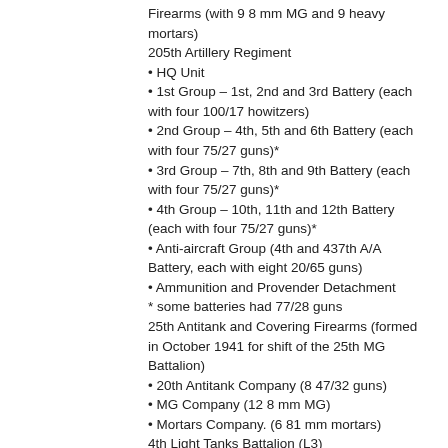Firearms (with 9 8 mm MG and 9 heavy mortars)
205th Artillery Regiment
• HQ Unit
• 1st Group – 1st, 2nd and 3rd Battery (each with four 100/17 howitzers)
• 2nd Group – 4th, 5th and 6th Battery (each with four 75/27 guns)*
• 3rd Group – 7th, 8th and 9th Battery (each with four 75/27 guns)*
• 4th Group – 10th, 11th and 12th Battery (each with four 75/27 guns)*
• Anti-aircraft Group (4th and 437th A/A Battery, each with eight 20/65 guns)
• Ammunition and Provender Detachment
* some batteries had 77/28 guns
25th Antitank and Covering Firearms (formed in October 1941 for shift of the 25th MG Battalion)
• 20th Antitank Company (8 47/32 guns)
• MG Company (12 8 mm MG)
• Mortars Company. (6 81 mm mortars)
4th Light Tanks Battalion (L3)
25th Engineer Battalion
• 60th Engineer Company